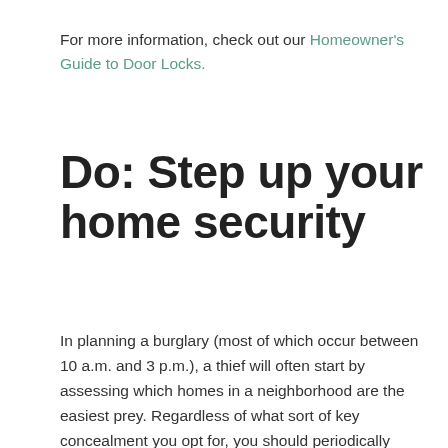For more information, check out our Homeowner's Guide to Door Locks.
Do: Step up your home security
In planning a burglary (most of which occur between 10 a.m. and 3 p.m.), a thief will often start by assessing which homes in a neighborhood are the easiest prey. Regardless of what sort of key concealment you opt for, you should periodically review and update the security of your home. Here